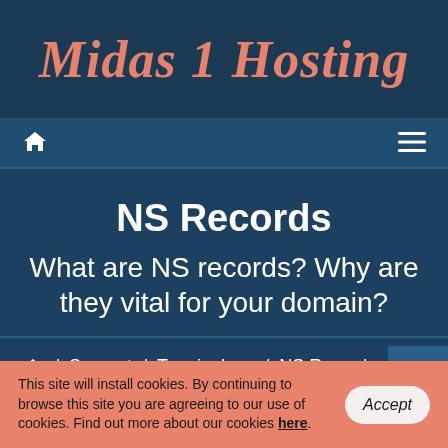Midas 1 Hosting
[Figure (screenshot): Navigation bar with home icon and hamburger menu icon on dark blue background]
NS Records
What are NS records? Why are they vital for your domain?
Home / Support / Terminology / NS Records
This site will install cookies. By continuing to browse this site you are agreeing to our use of cookies. Find out more about our cookies here.